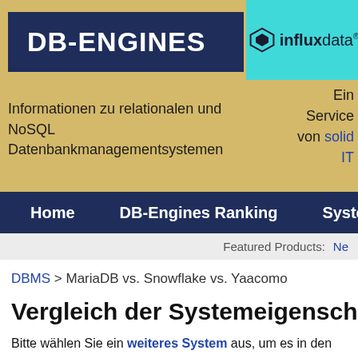[Figure (logo): DB-Engines logo in dark navy blue background with white bold text]
[Figure (logo): influxdata logo on cyan/turquoise background with geometric icon]
Informationen zu relationalen und NoSQL Datenbankmanagementsystemen
Ein Service von solid IT
Home  DB-Engines Ranking  Systeme
Featured Products: Neo
DBMS > MariaDB vs. Snowflake vs. Yaacomo
Vergleich der Systemeigenschaften M
Bitte wählen Sie ein weiteres System aus, um es in den